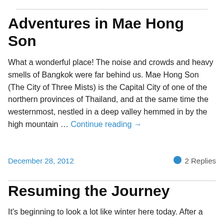Adventures in Mae Hong Son
What a wonderful place! The noise and crowds and heavy smells of Bangkok were far behind us. Mae Hong Son (The City of Three Mists) is the Capital City of one of the northern provinces of Thailand, and at the same time the westernmost, nestled in a deep valley hemmed in by the high mountain … Continue reading →
December 28, 2012    2 Replies
Resuming the Journey
It's beginning to look a lot like winter here today. After a